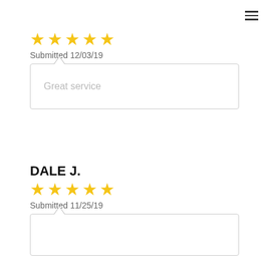[Figure (other): Hamburger menu icon (three horizontal lines) in top right corner]
[Figure (other): 5 yellow stars rating]
Submitted 12/03/19
Great service
DALE J.
[Figure (other): 5 yellow stars rating]
Submitted 11/25/19
(review text partially cut off)